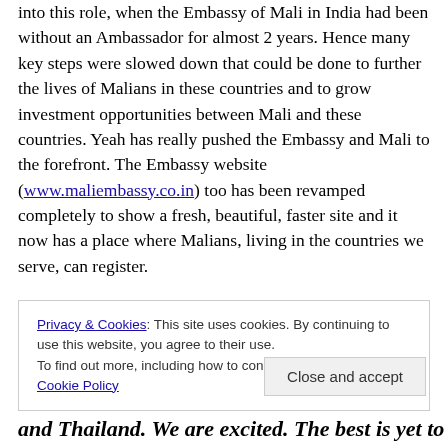into this role, when the Embassy of Mali in India had been without an Ambassador for almost 2 years. Hence many key steps were slowed down that could be done to further the lives of Malians in these countries and to grow investment opportunities between Mali and these countries. Yeah has really pushed the Embassy and Mali to the forefront. The Embassy website (www.maliembassy.co.in) too has been revamped completely to show a fresh, beautiful, faster site and it now has a place where Malians, living in the countries we serve, can register.
Privacy & Cookies: This site uses cookies. By continuing to use this website, you agree to their use. To find out more, including how to control cookies, see here: Cookie Policy
Close and accept
and Thailand. We are excited. The best is yet to come!